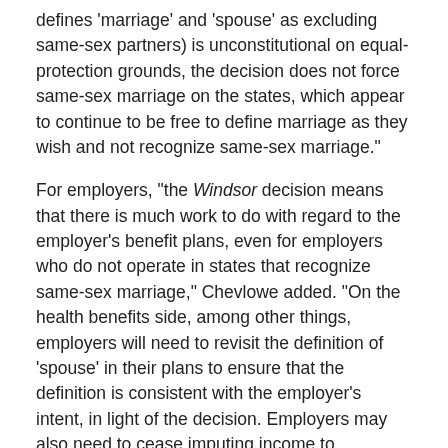defines 'marriage' and 'spouse' as excluding same-sex partners) is unconstitutional on equal-protection grounds, the decision does not force same-sex marriage on the states, which appear to continue to be free to define marriage as they wish and not recognize same-sex marriage."
For employers, "the Windsor decision means that there is much work to do with regard to the employer's benefit plans, even for employers who do not operate in states that recognize same-sex marriage," Chevlowe added. "On the health benefits side, among other things, employers will need to revisit the definition of 'spouse' in their plans to ensure that the definition is consistent with the employer's intent, in light of the decision. Employers may also need to cease imputing income to employees for the value of the health benefits they provide to same-sex spouses. With regard to qualified pensions, plan language and procedures will need to be considered because same-sex spouses have additional rights to federally protected benefits."